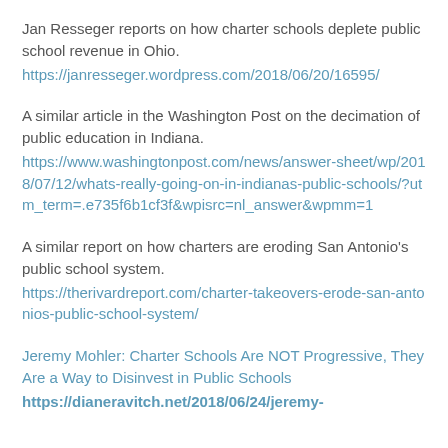Jan Resseger reports on how charter schools deplete public school revenue in Ohio. https://janresseger.wordpress.com/2018/06/20/16595/
A similar article in the Washington Post on the decimation of public education in Indiana. https://www.washingtonpost.com/news/answer-sheet/wp/2018/07/12/whats-really-going-on-in-indianas-public-schools/?utm_term=.e735f6b1cf3f&wpisrc=nl_answer&wpmm=1
A similar report on how charters are eroding San Antonio's public school system. https://therivardreport.com/charter-takeovers-erode-san-antonios-public-school-system/
Jeremy Mohler: Charter Schools Are NOT Progressive, They Are a Way to Disinvest in Public Schools https://dianeravitch.net/2018/06/24/jeremy-